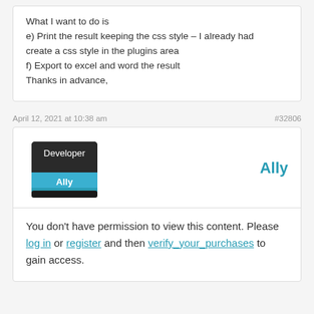What I want to do is
e) Print the result keeping the css style – I already had create a css style in the plugins area
f) Export to excel and word the result
Thanks in advance,
April 12, 2021 at 10:38 am
#32806
Ally
You don't have permission to view this content. Please log in or register and then verify_your_purchases to gain access.